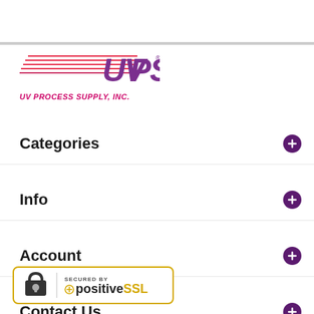[Figure (logo): UVPS UV Process Supply, Inc. logo with speed lines and italic company name]
Categories
Info
Account
Contact Us
[Figure (logo): Secured by positiveSSL badge with padlock icon and yellow border]